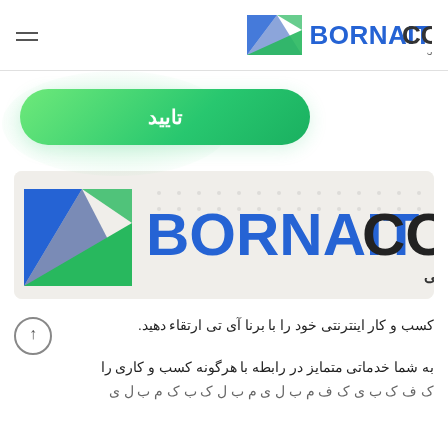BORNAITCO — خدمات مبتنی بر وب برنا آی تی
[Figure (logo): Green button labeled تایید (Confirm) with green radial glow effect]
[Figure (logo): BORNAITCO large logo with geometric triangles in blue and green, subtitle خدمات مبتنی بر وب برنا آی تی on beige background]
کسب و کار اینترنتی خود را با برنا آی تی ارتقاء دهید. به شما خدماتی متمایز در رابطه با هرگونه کسب و کاری را